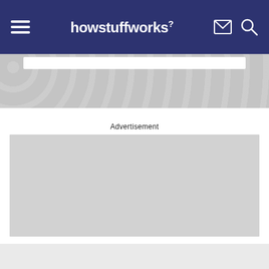howstuffworks
[Figure (screenshot): Gray banner area with a white bar near the top, patterned gray background]
Advertisement
[Figure (other): Light gray advertisement placeholder box]